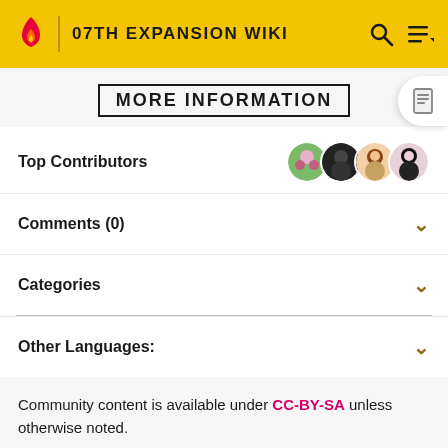07TH EXPANSION WIKI
MORE INFORMATION
Top Contributors
Comments (0)
Categories
Other Languages:
Community content is available under CC-BY-SA unless otherwise noted.
MORE 07TH EXPANSION WIKI